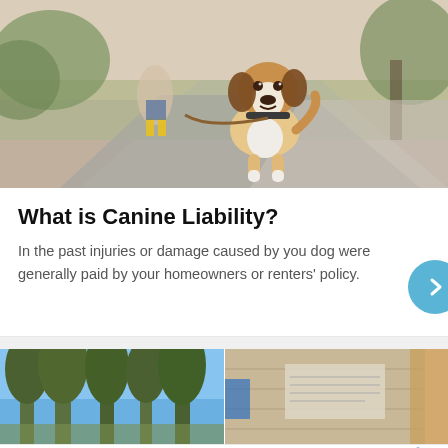[Figure (photo): A beagle dog on a leash walking toward the camera on a path outdoors, with a woman in yellow boots visible in the background.]
What is Canine Liability?
In the past injuries or damage caused by you dog were generally paid by your homeowners or renters' policy.
[Figure (photo): Two side-by-side photos: left shows tall pine trees against blue sky; right shows a close-up of fabric or material texture.]
[Figure (infographic): Advertisement bar for Petco showing Petco logo, checkmarks for In-store shopping and Curbside pickup, and a blue diamond direction icon.]